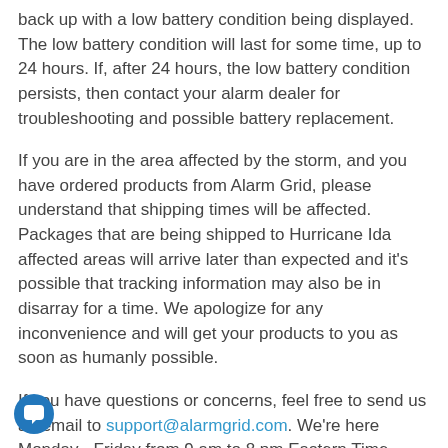back up with a low battery condition being displayed. The low battery condition will last for some time, up to 24 hours. If, after 24 hours, the low battery condition persists, then contact your alarm dealer for troubleshooting and possible battery replacement.
If you are in the area affected by the storm, and you have ordered products from Alarm Grid, please understand that shipping times will be affected. Packages that are being shipped to Hurricane Ida affected areas will arrive later than expected and it's possible that tracking information may also be in disarray for a time. We apologize for any inconvenience and will get your products to you as soon as humanly possible.
If you have questions or concerns, feel free to send us an email to support@alarmgrid.com. We're here Monday - Friday from 9 am to 8 pm Eastern Time. We'll get back to you as quickly as possible. You can also give us a call at 888-818-7728. We sincerely hope that you, your family, your pets, and your belongings are safe.
[Figure (illustration): Chat support icon — a dark blue circle with a white chat bubble symbol inside]